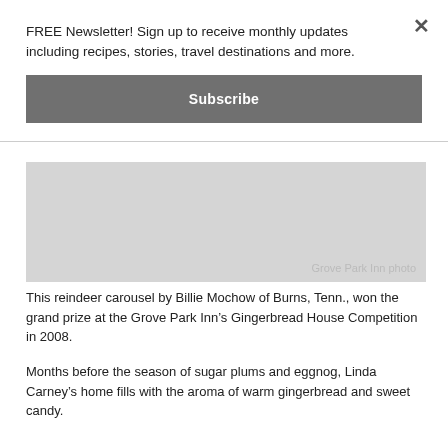FREE Newsletter! Sign up to receive monthly updates including recipes, stories, travel destinations and more.
Subscribe
[Figure (photo): Gray placeholder image of a reindeer carousel gingerbread house. Photo credit: Grove Park Inn photo]
This reindeer carousel by Billie Mochow of Burns, Tenn., won the grand prize at the Grove Park Inn’s Gingerbread House Competition in 2008.
Months before the season of sugar plums and eggnog, Linda Carney’s home fills with the aroma of warm gingerbread and sweet candy.